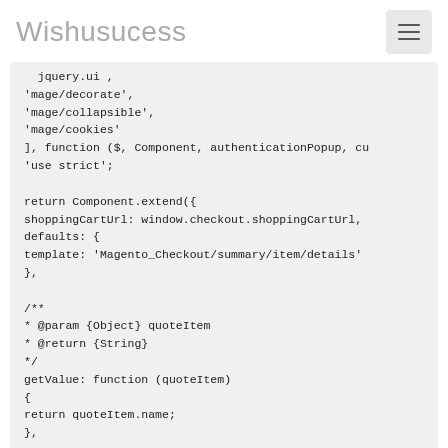Wishusucess
jquery.ui ,
'mage/decorate',
'mage/collapsible',
'mage/cookies'
], function ($, Component, authenticationPopup, cu
'use strict';

return Component.extend({
shoppingCartUrl: window.checkout.shoppingCartUrl,
defaults: {
template: 'Magento_Checkout/summary/item/details'
},

/**
* @param {Object} quoteItem
* @return {String}
*/
getValue: function (quoteItem)
{
return quoteItem.name;
},